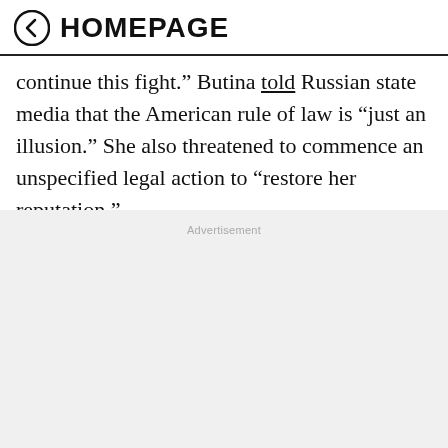HOMEPAGE
continue this fight.” Butina told Russian state media that the American rule of law is “just an illusion.” She also threatened to commence an unspecified legal action to “restore her reputation.”
Advertisement